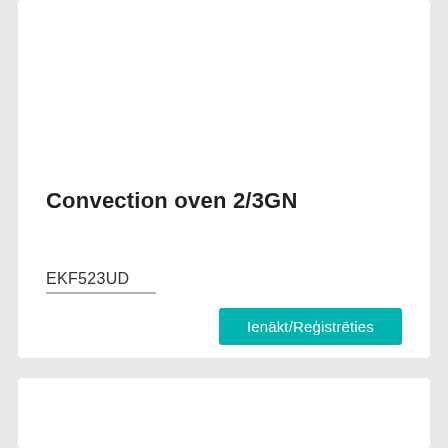Convection oven 2/3GN
EKF523UD
Ienākt/Reģistrēties